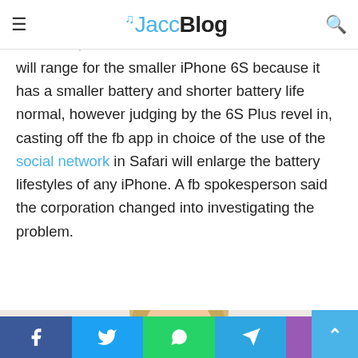JaccBlog
Capabilities of the app, together with Immediately Amelia the playground. Tapping a hyperlink at the in mobile site opens a brand new Safari tab. The outcomes will range for the smaller iPhone 6S because it has a smaller battery and shorter battery life normal, however judging by the 6S Plus revel in, casting off the fb app in choice of the use of the social network in Safari will enlarge the battery lifestyles of any iPhone. A fb spokesperson said the corporation changed into investigating the problem.
[Figure (photo): Partial view of a woman with blonde hair, shown from roughly the shoulders up, partially visible at the bottom of the page]
Share buttons: Facebook, Twitter, WhatsApp, Telegram, Phone